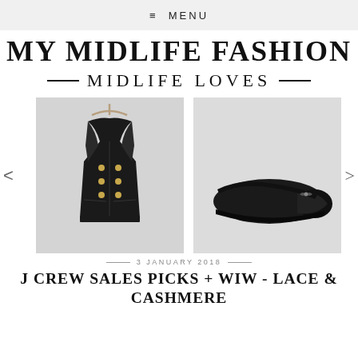≡ MENU
MY MIDLIFE FASHION
MIDLIFE LOVES
[Figure (photo): Two product photos side by side: a black double-breasted blazer/jacket with gold buttons on a hanger (left), and a pair of black leather ballet flat shoes with toe cap detail (right). Left and right navigation arrows are visible on either side.]
3 JANUARY 2018
J CREW SALES PICKS + WIW - LACE & CASHMERE